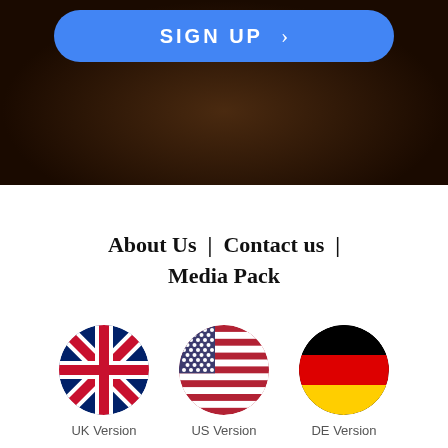[Figure (screenshot): Hero image with dark brown/black background showing soil/ground. A blue rounded 'SIGN UP' button with arrow is overlaid at the top.]
About Us  |  Contact us  |  Media Pack
[Figure (illustration): Three circular flag icons side by side: UK flag (Union Jack), US flag (Stars and Stripes), German flag (black-red-gold). Below each flag: UK Version, US Version, DE Version.]